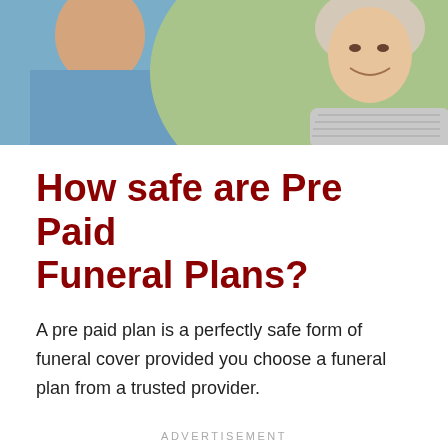[Figure (photo): Two elderly people smiling and playing cards together outdoors. One person in a blue top is partially visible on the left, and a smiling older woman is visible on the right.]
How safe are Pre Paid Funeral Plans?
A pre paid plan is a perfectly safe form of funeral cover provided you choose a funeral plan from a trusted provider.
ADVERTISEMENT